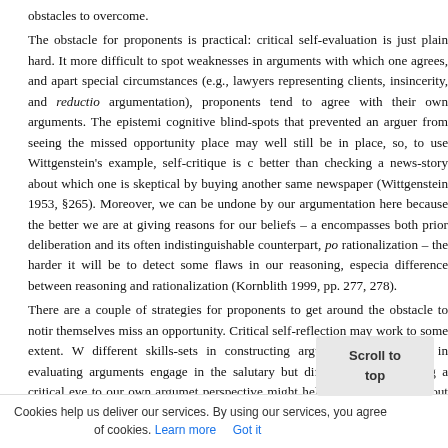obstacles to overcome.
The obstacle for proponents is practical: critical self-evaluation is just plain hard. It more difficult to spot weaknesses in arguments with which one agrees, and apart special circumstances (e.g., lawyers representing clients, insincerity, and reductio argumentation), proponents tend to agree with their own arguments. The epistemi cognitive blind-spots that prevented an arguer from seeing the missed opportunity place may well still be in place, so, to use Wittgenstein's example, self-critique is c better than checking a news-story about which one is skeptical by buying another same newspaper (Wittgenstein 1953, §265). Moreover, we can be undone by our argumentation here because the better we are at giving reasons for our beliefs – a encompasses both prior deliberation and its often indistinguishable counterpart, po rationalization – the harder it will be to detect some flaws in our reasoning, especia difference between reasoning and rationalization (Kornblith 1999, pp. 277, 278).
There are a couple of strategies for proponents to get around the obstacle to notir themselves miss an opportunity. Critical self-reflection may work to some extent. W different skills-sets in constructing arguments than we do in evaluating arguments engage in the salutary but difficult task of turning a critical eye to our own argumet perspective might help us notice things about our argument tha constructing the argument. That is, we can take advantage of c argumentative role and nothing to ameliorate any of the problems